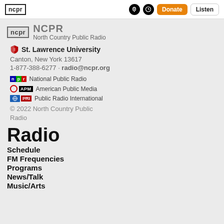ncpr | National logo nav bar with Donate and Listen buttons
NCPR North Country Public Radio
St. Lawrence University
Canton, New York 13617
1-877-388-6277 · radio@ncpr.org
National Public Radio
American Public Media
Public Radio International
© 2022 North Country Public Radio
Radio
Schedule
FM Frequencies
Programs
News/Talk
Music/Arts